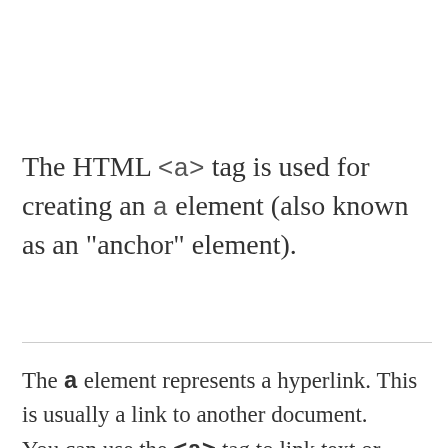The HTML <a> tag is used for creating an a element (also known as an "anchor" element).
The a element represents a hyperlink. This is usually a link to another document.
You can use the <a> tag to link text or images. You can also link a large block of content (even